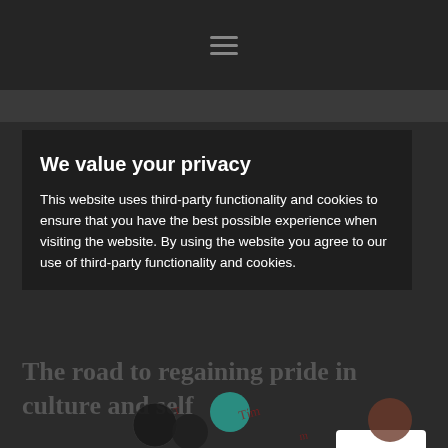We value your privacy
This website uses third-party functionality and cookies to ensure that you have the best possible experience when visiting the website. By using the website you agree to our use of third-party functionality and cookies.
The road to regaining pride in culture and self
[Figure (screenshot): OK button (white rectangle with 'OK' text) on a dark semi-transparent cookie consent overlay]
[Figure (illustration): Colorful circular logo/illustration elements visible at the bottom of the page]